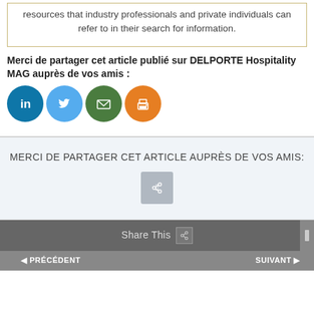resources that industry professionals and private individuals can refer to in their search for information.
Merci de partager cet article publié sur DELPORTE Hospitality MAG auprès de vos amis :
[Figure (infographic): Four social sharing icon buttons: LinkedIn (blue), Twitter (light blue), Email (green), Print (orange)]
MERCI DE PARTAGER CET ARTICLE AUPRÈS DE VOS AMIS:
[Figure (infographic): A single grey sharing button icon]
Share This
PRÉCÉDENT
SUIVANT